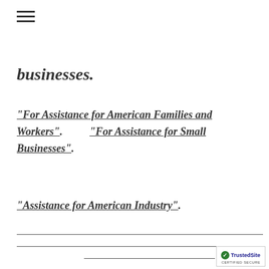≡
businesses.
"For Assistance for American Families and Workers".          "For Assistance for Small Businesses".
"Assistance for American Industry".